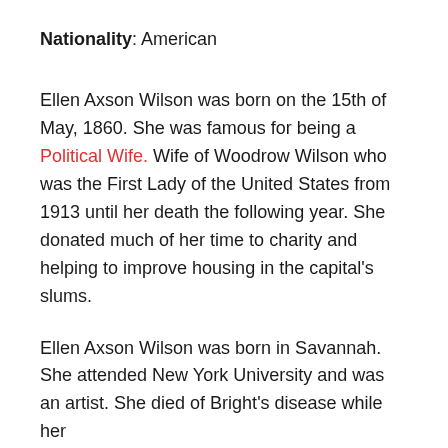Nationality: American
Ellen Axson Wilson was born on the 15th of May, 1860. She was famous for being a Political Wife. Wife of Woodrow Wilson who was the First Lady of the United States from 1913 until her death the following year. She donated much of her time to charity and helping to improve housing in the capital's slums.
Ellen Axson Wilson was born in Savannah. She attended New York University and was an artist. She died of Bright's disease while her